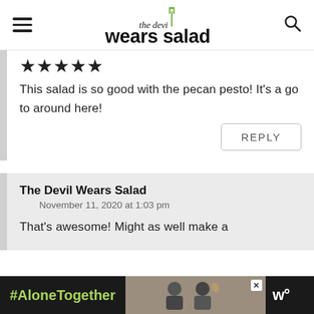the devil wears salad
★★★★★
This salad is so good with the pecan pesto! It's a go to around here!
REPLY
The Devil Wears Salad
November 11, 2020 at 1:03 pm
That's awesome! Might as well make a
[Figure (screenshot): #AloneTogether ad banner at the bottom of the page, dark background with green hashtag text and a photo of two people waving]
#AloneTogether